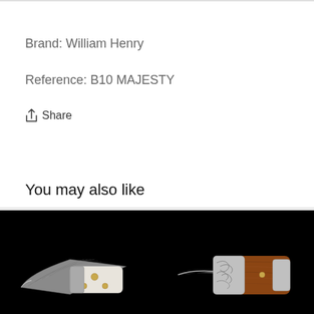Brand: William Henry
Reference: B10 MAJESTY
Share
You may also like
[Figure (photo): Folding knife with Damascus steel blade and white/ivory handle with gold pins on black background]
[Figure (photo): Folding knife with ornate engraved silver bolster and brown wood handle on black background]